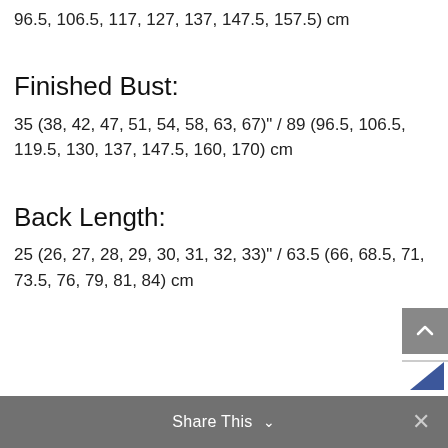96.5, 106.5, 117, 127, 137, 147.5, 157.5) cm
Finished Bust:
35 (38, 42, 47, 51, 54, 58, 63, 67)" / 89 (96.5, 106.5, 119.5, 130, 137, 147.5, 160, 170) cm
Back Length:
25 (26, 27, 28, 29, 30, 31, 32, 33)" / 63.5 (66, 68.5, 71, 73.5, 76, 79, 81, 84) cm
Share This ∨  ×